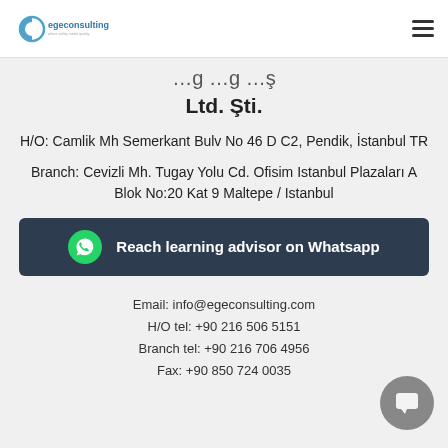egeconsulting
Ltd. Şti.
H/O: Camlik Mh Semerkant Bulv No 46 D C2, Pendik, İstanbul TR
Branch: Cevizli Mh. Tugay Yolu Cd. Ofisim Istanbul Plazaları A Blok No:20 Kat 9 Maltepe / Istanbul
[Figure (infographic): Dark teal button with WhatsApp green icon and text: Reach learning advisor on Whatsapp]
Email: info@egeconsulting.com
H/O tel: +90 216 506 5151
Branch tel: +90 216 706 4956
Fax: +90 850 724 0035